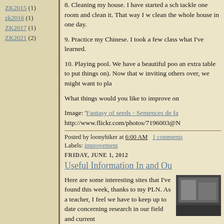ZK2015 (1)
zk2016 (1)
ZK2017 (1)
ZK2021 (2)
8. Cleaning my house. I have started a sch tackle one room and clean it. That way I w clean the whole house in one day.
9. Practice my Chinese. I took a few class what I've learned.
10. Playing pool. We have a beautiful poo an extra table to put things on). Now that w inviting others over, we might want to pla
What things would you like to improve on
Image: 'Fantasy of seeds - Semences de fa http://www.flickr.com/photos/7196003@N
Posted by loonyhiker at 6:00 AM   1 comments
Labels: improvement
FRIDAY, JUNE 1, 2012
Useful Information In and Ou
Here are some interesting sites that I've found this week, thanks to my PLN. As a teacher, I feel we have to keep up to date concerning research in our field and current